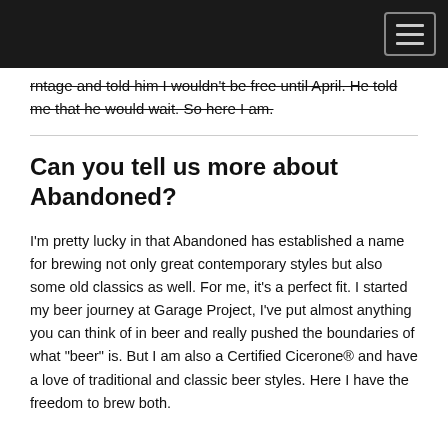[navigation bar]
rntage and told him I wouldn't be free until April. He told me that he would wait. So here I am.
Can you tell us more about Abandoned?
I'm pretty lucky in that Abandoned has established a name for brewing not only great contemporary styles but also some old classics as well. For me, it's a perfect fit. I started my beer journey at Garage Project, I've put almost anything you can think of in beer and really pushed the boundaries of what "beer" is. But I am also a Certified Cicerone® and have a love of traditional and classic beer styles. Here I have the freedom to brew both.